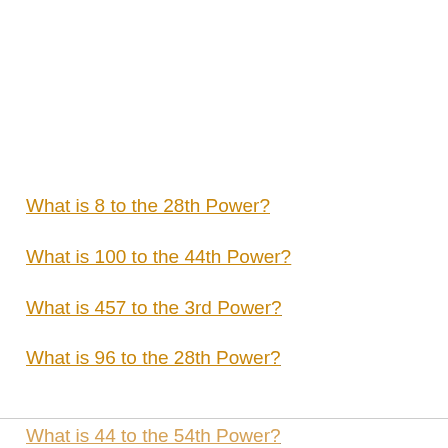What is 8 to the 28th Power?
What is 100 to the 44th Power?
What is 457 to the 3rd Power?
What is 96 to the 28th Power?
What is 44 to the 54th Power?